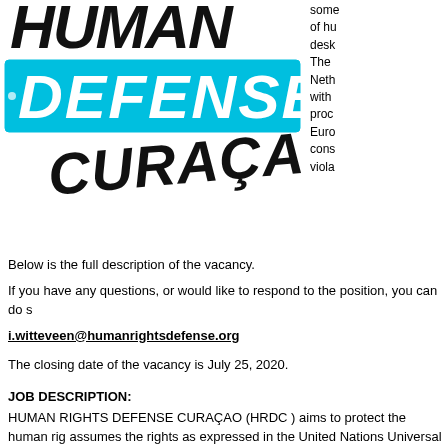[Figure (logo): Human Rights Defense Curaçao logo with black graffiti-style top text, cyan/blue 'DEFENSE' banner, and black graffiti-style 'CURAÇAO' text]
some of hu desk The Neth with proc Euro cons viola
Below is the full description of the vacancy.
If you have any questions, or would like to respond to the position, you can do s
i.witteveen@humanrightsdefense.org
The closing date of the vacancy is July 25, 2020.
JOB DESCRIPTION:
HUMAN RIGHTS DEFENSE CURAÇAO (HRDC ) aims to protect the human rig assumes the rights as expressed in the United Nations Universal Declaration of which over the years have been anchored by the international community in bin International Covenant on Civil and Political Rights (including the right to life, ed treaty) and the International Covenant on Economic, Social and Cultural Rights health care and education) and from an Intercultural vision.